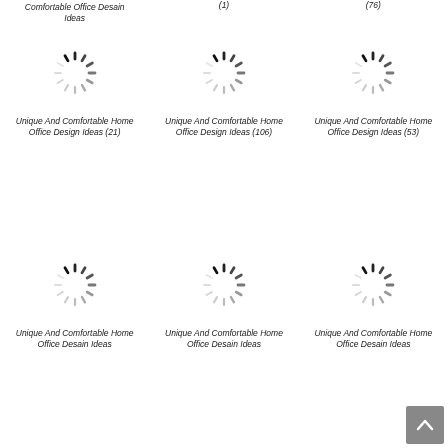Comfortable Office Desain Ideas (1)
(76)
[Figure (illustration): Loading spinner icon]
[Figure (illustration): Loading spinner icon]
[Figure (illustration): Loading spinner icon]
Unique And Comfortable Home Office Design Ideas (21)
Unique And Comfortable Home Office Design Ideas (106)
Unique And Comfortable Home Office Design Ideas (53)
[Figure (illustration): Loading spinner icon]
[Figure (illustration): Loading spinner icon]
[Figure (illustration): Loading spinner icon]
Unique And Comfortable Home Office Desain Ideas
Unique And Comfortable Home Office Desain Ideas
Unique And Comfortable Home Office Desain Ideas